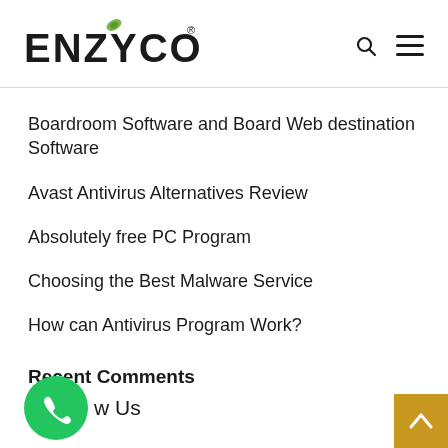ENZYCO
Boardroom Software and Board Web destination Software
Avast Antivirus Alternatives Review
Absolutely free PC Program
Choosing the Best Malware Service
How can Antivirus Program Work?
Recent Comments
[Figure (illustration): Green phone icon circle (Follow Us contact button) and golden scroll-to-top arrow button in bottom right corner]